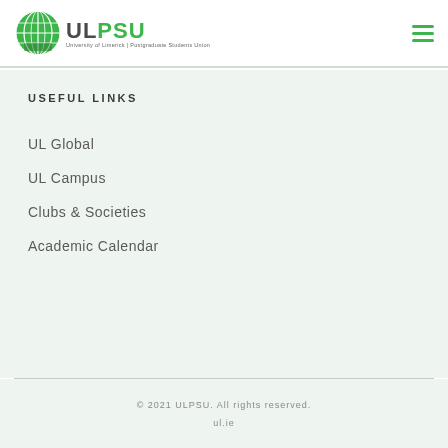[Figure (logo): ULPSU logo — circular green globe icon with UL PSU text and subtitle 'University of Limerick | Postgraduate Students Union']
USEFUL LINKS
UL Global
UL Campus
Clubs & Societies
Academic Calendar
© 2021 ULPSU. All rights reserved.
ul.ie